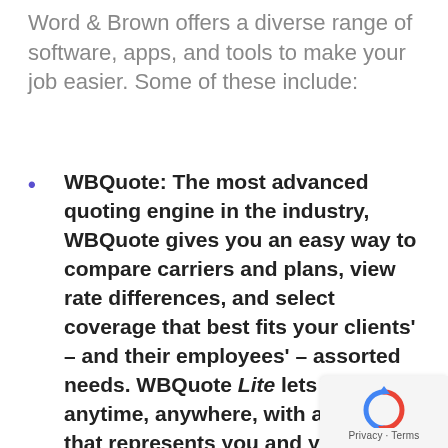Word & Brown offers a diverse range of software, apps, and tools to make your job easier. Some of these include:
WBQuote: The most advanced quoting engine in the industry, WBQuote gives you an easy way to compare carriers and plans, view rate differences, and select coverage that best fits your clients' – and their employees' – assorted needs. WBQuote Lite lets you quote anytime, anywhere, with a quote that represents you and your brand